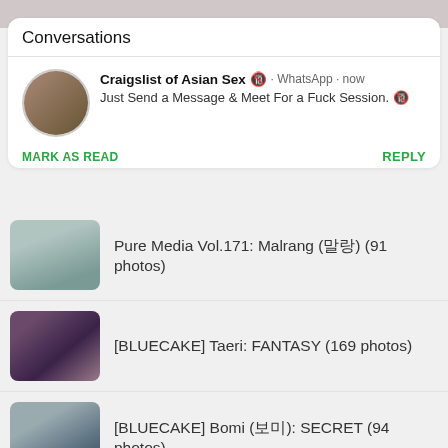Conversations
Craigslist of Asian Sex 🔞 · WhatsApp · now
Just Send a Message & Meet For a Fuck Session. 🔞
MARK AS READ   REPLY
Pure Media Vol.171: Malrang (말랑) (91 photos)
[BLUECAKE] Taeri: FANTASY (169 photos)
[BLUECAKE] Bomi (보미): SECRET (94 photos)